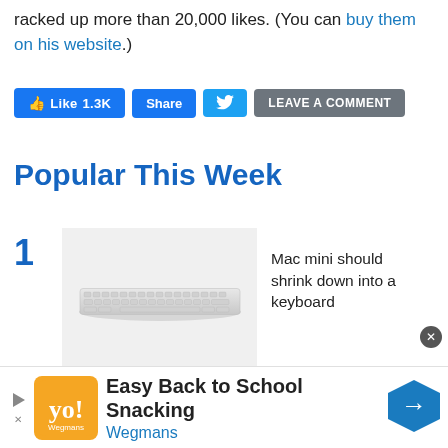racked up more than 20,000 likes. (You can buy them on his website.)
[Figure (screenshot): Social media interaction buttons: Like 1.3K (Facebook), Share, Twitter bird icon, LEAVE A COMMENT]
Popular This Week
1 - Mac mini should shrink down into a keyboard
[Figure (photo): Image of a white Apple keyboard on a light gray background]
[Figure (infographic): Advertisement banner: Easy Back to School Snacking - Wegmans, with Wegmans logo and navigation arrow icon]